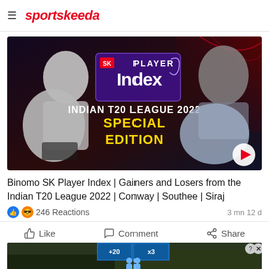sportskeeda
[Figure (screenshot): SK Player Index Indian T20 League 2022 Special Edition thumbnail with cricket players including Conway, Southee, and Siraj]
Binomo SK Player Index | Gainers and Losers from the Indian T20 League 2022 | Conway | Southee | Siraj
246 Reactions   3 mn 12 d
Like   Comment   Share
[Figure (screenshot): Advertisement banner showing Hold and Move with outdoor background]